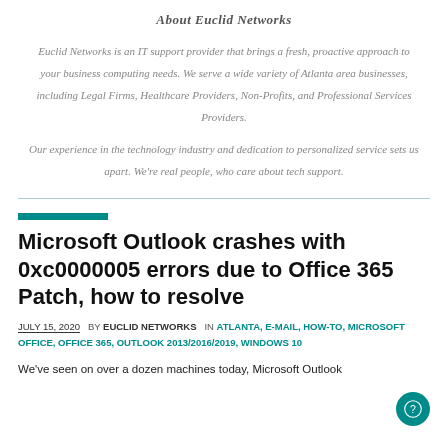About Euclid Networks
Euclid Networks is an IT support provider that brings a fresh, proactive approach to your business computing needs. We serve a wide variety of Atlanta area businesses, including Legal Firms, Healthcare Providers, Non-Profits, and Professional Services Providers.
Our experience in the technology industry and dedication to personalized service sets us apart. We’re real people, who care about tech support.
Microsoft Outlook crashes with 0xc0000005 errors due to Office 365 Patch, how to resolve
JULY 15, 2020  BY EUCLID NETWORKS  IN ATLANTA, E-MAIL, HOW-TO, MICROSOFT OFFICE, OFFICE 365, OUTLOOK 2013/2016/2019, WINDOWS 10
We’ve seen on over a dozen machines today, Microsoft Outlook